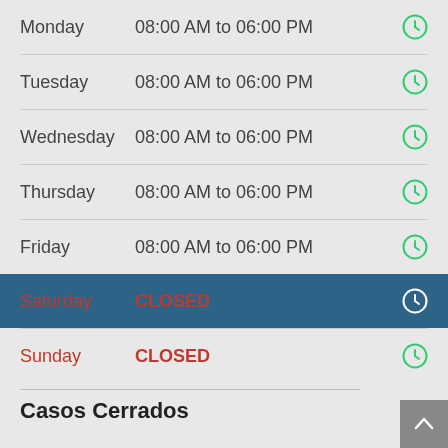Monday   08:00 AM to 06:00 PM
Tuesday  08:00 AM to 06:00 PM
Wednesday  08:00 AM to 06:00 PM
Thursday  08:00 AM to 06:00 PM
Friday   08:00 AM to 06:00 PM
Saturday  CLOSED
Sunday   CLOSED
Casos Cerrados